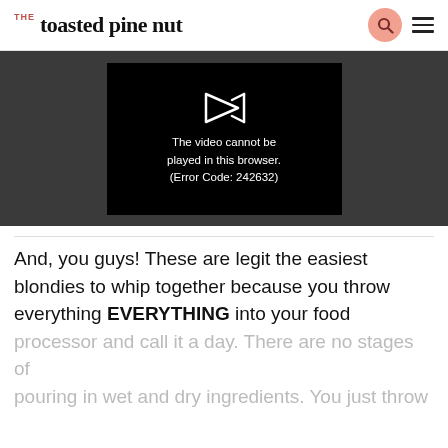THE toasted pine nut
[Figure (screenshot): Video player showing error message: 'The video cannot be played in this browser. (Error Code: 242632)']
And, you guys! These are legit the easiest blondies to whip together because you throw everything EVERYTHING into your food processor and call it a day. There are no stages of pouring in wet and dry ingredients. You just throw